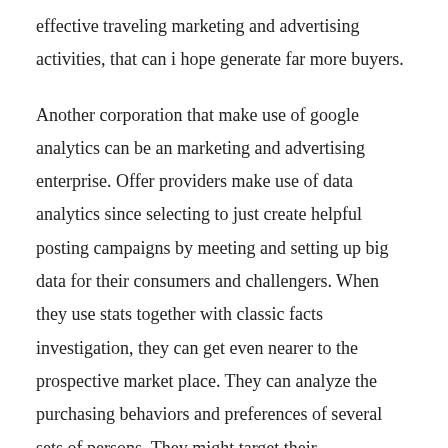effective traveling marketing and advertising activities, that can i hope generate far more buyers.
Another corporation that make use of google analytics can be an marketing and advertising enterprise. Offer providers make use of data analytics since selecting to just create helpful posting campaigns by meeting and setting up big data for their consumers and challengers. When they use stats together with classic facts investigation, they can get even nearer to the prospective market place. They can analyze the purchasing behaviors and preferences of several sets of persons. They might target their advertisements to attain their visitors more efficiently and have more visitors to their business.
Online store organizations also make big facts business results an integral part of their company tactic. Utilizing significant data